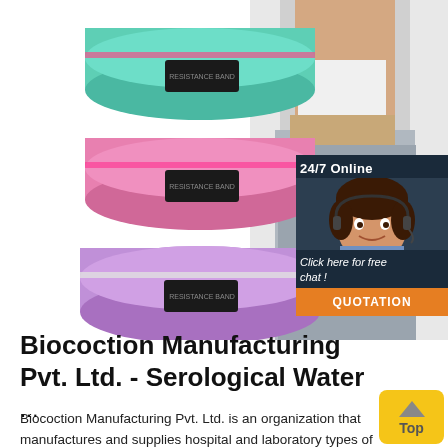[Figure (photo): Three elastic fabric resistance bands stacked (green, pink, purple) on the left; woman in workout clothes on the right]
[Figure (infographic): 24/7 Online chat widget with customer service agent photo, 'Click here for free chat!' text, and orange QUOTATION button]
Biocoction Manufacturing Pvt. Ltd. - Serological Water ...
Biocoction Manufacturing Pvt. Ltd. is an organization that manufactures and supplies hospital and laboratory types of equipment. The unit, run by Mr.Krishnendu, operates its daily
[Figure (infographic): Yellow 'Top' button with upward arrow in bottom-right corner]